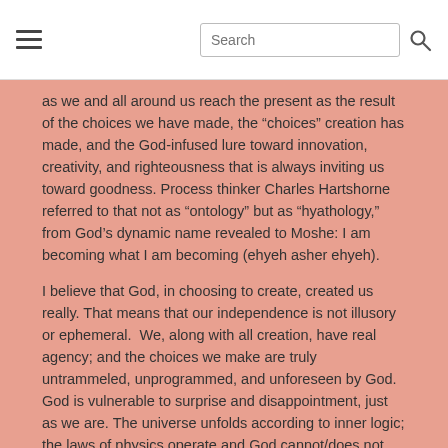Search
as we and all around us reach the present as the result of the choices we have made, the “choices” creation has made, and the God-infused lure toward innovation, creativity, and righteousness that is always inviting us toward goodness. Process thinker Charles Hartshorne referred to that not as “ontology” but as “hyathology,” from God’s dynamic name revealed to Moshe: I am becoming what I am becoming (ehyeh asher ehyeh).
I believe that God, in choosing to create, created us really. That means that our independence is not illusory or ephemeral. We, along with all creation, have real agency; and the choices we make are truly untrammeled, unprogrammed, and unforeseen by God. God is vulnerable to surprise and disappointment, just as we are. The universe unfolds according to inner logic; the laws of physics operate and God cannot/does not suspend them based on moral standards. As Rabbi Harold Kushner says, asking the universe to treat you